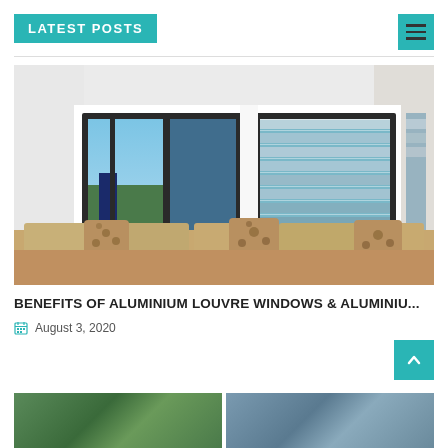LATEST POSTS
[Figure (photo): Interior room photo showing corner aluminium louvre windows with a view of outdoor buildings and trees, beige sectional sofa with patterned cushions below the windows]
BENEFITS OF ALUMINIUM LOUVRE WINDOWS & ALUMINIU...
August 3, 2020
[Figure (photo): Partial bottom strip showing two thumbnail images of additional blog posts]